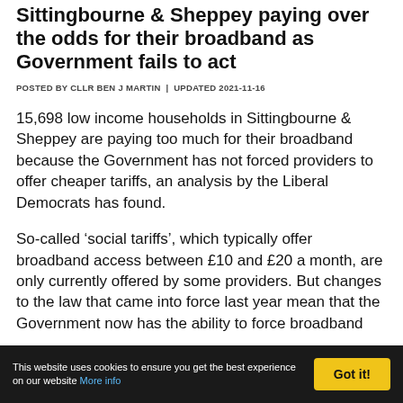Sittingbourne & Sheppey paying over the odds for their broadband as Government fails to act
POSTED BY CLLR BEN J MARTIN | UPDATED 2021-11-16
15,698 low income households in Sittingbourne & Sheppey are paying too much for their broadband because the Government has not forced providers to offer cheaper tariffs, an analysis by the Liberal Democrats has found.
So-called ‘social tariffs’, which typically offer broadband access between £10 and £20 a month, are only currently offered by some providers. But changes to the law that came into force last year mean that the Government now has the ability to force broadband
This website uses cookies to ensure you get the best experience on our website More info